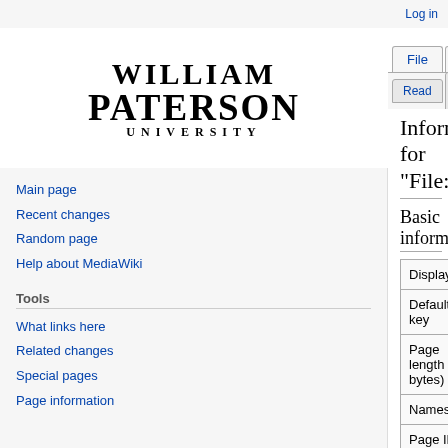Log in
[Figure (logo): William Paterson University logo in bold serif text]
File | Discussion | Read | View source | View history | Search
Information for "File:JavaCache2.PNG"
Basic information
| Property | Value |
| --- | --- |
| Display title | File:JavaCache2.PNG |
| Default sort key | JavaCache2.PNG |
| Page length (in bytes) | 0 |
| Namespace | File |
| Page ID | 669 |
Main page
Recent changes
Random page
Help about MediaWiki
Tools
What links here
Related changes
Special pages
Page information